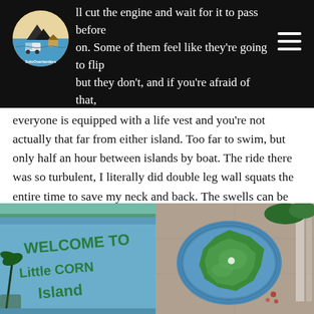ll cut the engine and wait for it to pass before on. Some of them feel like they're going to flip but they don't, and if you're afraid of that,
everyone is equipped with a life vest and you're not actually that far from either island. Too far to swim, but only half an hour between islands by boat. The ride there was so turbulent, I literally did double leg wall squats the entire time to save my neck and back. The swells can be so big that the front of the boat feels like it's literally facing the sky.
[Figure (photo): Blue painted wall with green text graffiti reading 'WELCOME TO Little CORN Island' with palm tree silhouettes]
[Figure (map): Aerial or artistic map painting of Little Corn Island showing the island shape in green surrounded by blue water, mounted on a concrete wall]